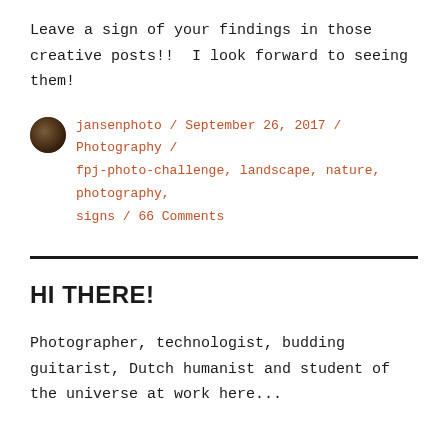Leave a sign of your findings in those creative posts!!  I look forward to seeing them!
jansenphoto / September 26, 2017 / Photography / fpj-photo-challenge, landscape, nature, photography, signs / 66 Comments
HI THERE!
Photographer, technologist, budding guitarist, Dutch humanist and student of the universe at work here...